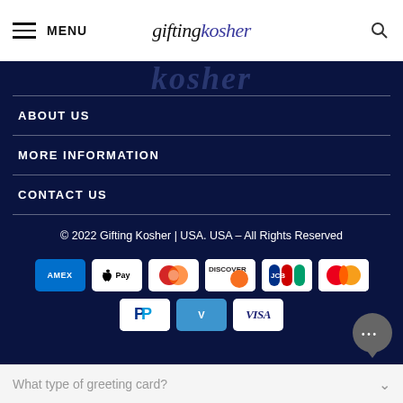MENU | giftingkosher
ABOUT US
MORE INFORMATION
CONTACT US
© 2022 Gifting Kosher | USA. USA – All Rights Reserved
[Figure (other): Payment method icons: American Express, Apple Pay, Diners Club, Discover, JCB, Mastercard, PayPal, Venmo, Visa]
[Figure (other): Chat bubble icon with ellipsis]
What type of greeting card?